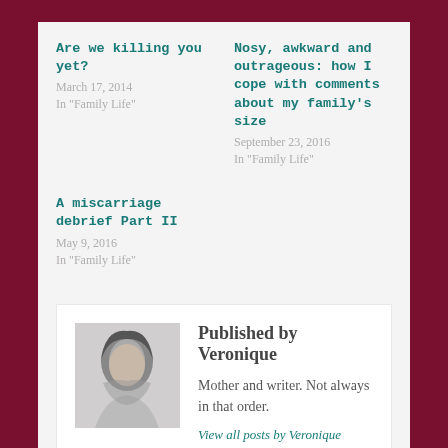Are we killing you yet?
March 17, 2014
In "Family Life"
Nosy, awkward and outrageous: how I cope with comments about my family's size
September 23, 2016
In "Family Life"
A miscarriage debrief Part II
May 9, 2016
In "Family Life"
Published by Veronique
[Figure (photo): Black and white photo of a person, possibly a woman with hair visible]
Mother and writer. Not always in that order.
View all posts by Veronique